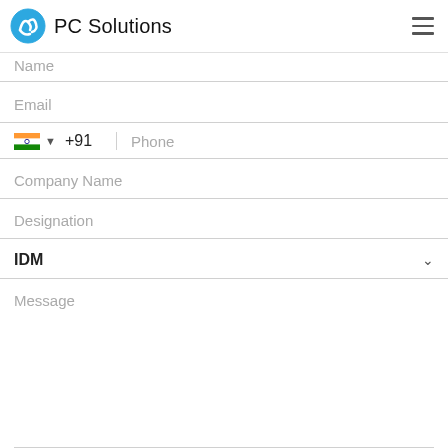PC Solutions
Name
Email
+91  Phone
Company Name
Designation
IDM
Message